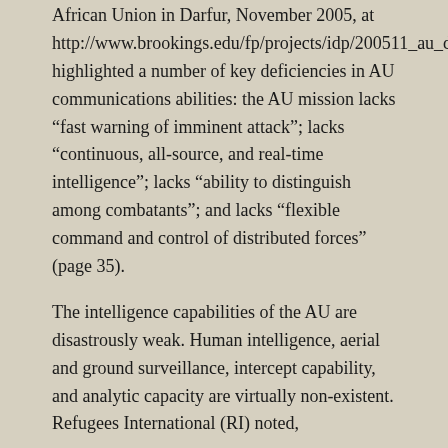African Union in Darfur, November 2005, at http://www.brookings.edu/fp/projects/idp/200511_au_darfur.pdf) highlighted a number of key deficiencies in AU communications abilities: the AU mission lacks “fast warning of imminent attack”; lacks “continuous, all-source, and real-time intelligence”; lacks “ability to distinguish among combatants”; and lacks “flexible command and control of distributed forces” (page 35).
The intelligence capabilities of the AU are disastrously weak. Human intelligence, aerial and ground surveillance, intercept capability, and analytic capacity are virtually non-existent. Refugees International (RI) noted,
“Even when [the African Union force] does collect valuable information, RI was told by [AU] officers and advisors that there is a lack of suitably trained personnel capable of analyzing this information for intelligence value, which